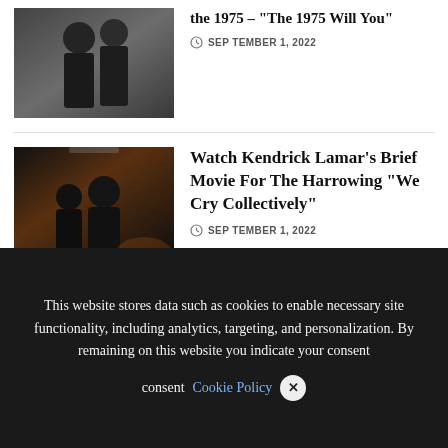[Figure (photo): Two people in dark suits embracing or posed together, partially visible at top of page]
Watch Kendrick Lamar’s Brief Movie For The Harrowing “We Cry Collectively”
SEPTEMBER 1, 2022
[Figure (photo): Dark silhouette scene with two figures in a dimly lit interior room]
SEPTEMBER 1, 2022
We use cookies on our website to give you the most relevant experience by remembering your preferences and repeat visits. By clicking “Accept All”, you consent to the use of ALL the controlled consent.
This website stores data such as cookies to enable necessary site functionality, including analytics, targeting, and personalization. By remaining on this website you indicate your consent Cookie Policy